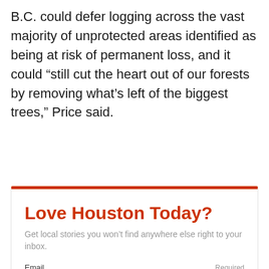B.C. could defer logging across the vast majority of unprotected areas identified as being at risk of permanent loss, and it could “still cut the heart out of our forests by removing what’s left of the biggest trees,” Price said.
Love Houston Today?
Get local stories you won’t find anywhere else right to your inbox.
Email  Required
SUBSCRIBE